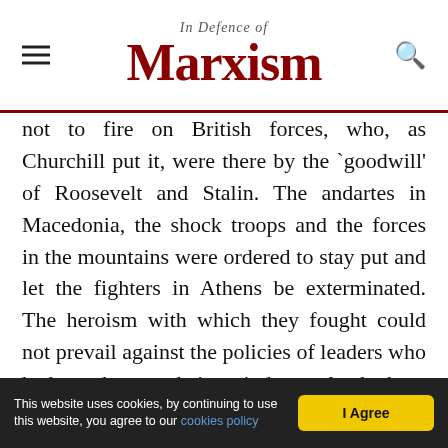In Defence of Marxism
not to fire on British forces, who, as Churchill put it, were there by the `goodwill' of Roosevelt and Stalin. The andartes in Macedonia, the shock troops and the forces in the mountains were ordered to stay put and let the fighters in Athens be exterminated. The heroism with which they fought could not prevail against the policies of leaders who had made up their minds to lead these fighters into the surrender that was demanded by Moscow.

The Varkiza agreement of 15 February 1945 provided for all Resistance forces to be disarmed, but the ELAS forces in Athens had not submitted to
This website uses cookies, by continuing to use this website, you agree to our cookies policy  |  I Agree